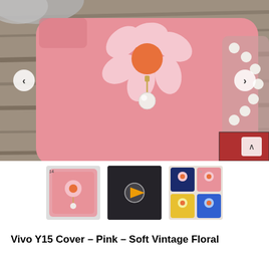[Figure (photo): Main product photo showing a pink Vivo Y15 phone case with a 3D flower decoration and pearl charm pendant, placed on a wooden surface with a pearl bracelet and decorative items visible. Left and right navigation arrows and a scroll-to-top button overlay the image.]
[Figure (photo): Three product thumbnail images: first shows the pink phone case lying flat; second is a video thumbnail with a play button showing someone handling the case; third shows multiple phone cases in different colors (blue, pink, yellow, blue).]
Vivo Y15 Cover – Pink – Soft Vintage Floral